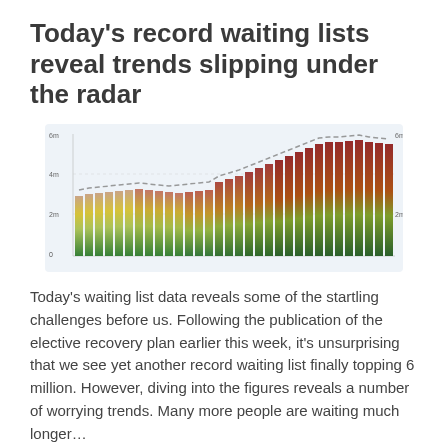Today's record waiting lists reveal trends slipping under the radar
[Figure (bar-chart): A bar chart showing NHS waiting list data over time. Bars are coloured in a gradient from green (lower waits) at the bottom to red/dark red (longer waits) at the top, with a dashed line overlay tracking the trend. The bars increase in height over the time period shown, reflecting record waiting list numbers topping 6 million.]
Today's waiting list data reveals some of the startling challenges before us. Following the publication of the elective recovery plan earlier this week, it's unsurprising that we see yet another record waiting list finally topping 6 million. However, diving into the figures reveals a number of worrying trends. Many more people are waiting much longer…
February 10, 2022    DHC